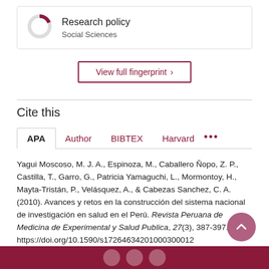[Figure (donut-chart): Partial donut/ring chart icon in dark red/maroon color representing Research policy in Social Sciences]
Research policy
Social Sciences
View full fingerprint >
Cite this
APA  Author  BIBTEX  Harvard  •••
Yagui Moscoso, M. J. A., Espinoza, M., Caballero Ñopo, Z. P., Castilla, T., Garro, G., Patricia Yamaguchi, L., Mormontoy, H., Mayta-Tristán, P., Velásquez, A., & Cabezas Sanchez, C. A. (2010). Avances y retos en la construcción del sistema nacional de investigación en salud en el Perú. Revista Peruana de Medicina de Experimental y Salud Publica, 27(3), 387-397. https://doi.org/10.1590/s17264634201000300012